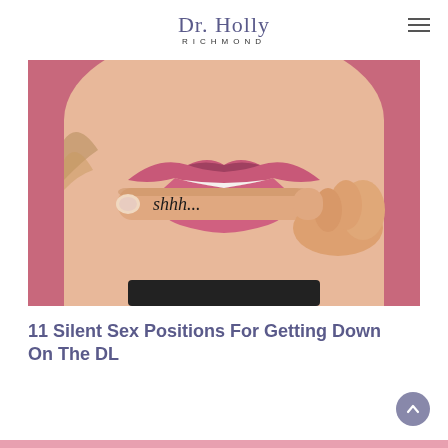Dr. Holly Richmond
[Figure (photo): Close-up photo of a woman's lips and chin area. She has pink lipstick and is holding her index finger — which has 'shhh...' written on it in black ink — up to her lips in a shushing gesture. The background is a dusty rose/pink color.]
11 Silent Sex Positions For Getting Down On The DL